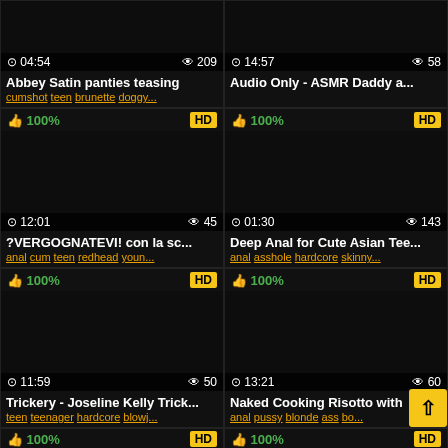[Figure (screenshot): Video thumbnail dark/black for Abbey Satin panties teasing]
⊙ 04:54   👁 209
Abbey Satin panties teasing
cumshot teen brunette doggy...
[Figure (screenshot): Video thumbnail dark/black for Audio Only - ASMR Daddy a...]
⊙ 14:57   👁 58
Audio Only - ASMR Daddy a...
[Figure (screenshot): Video thumbnail dark/black for ?VERGOGNATEVI! con la sc...]
👍 100%   HD
⊙ 12:01   👁 45
?VERGOGNATEVI! con la sc...
anal cum teen redhead youn...
[Figure (screenshot): Video thumbnail dark/black for Deep Anal for Cute Asian Tee...]
👍 100%   HD
⊙ 01:30   👁 143
Deep Anal for Cute Asian Tee...
anal asshole hardcore skinny...
[Figure (screenshot): Video thumbnail dark/black for Trickery - Joseline Kelly Trick...]
👍 100%   HD
⊙ 11:59   👁 50
Trickery - Joseline Kelly Trick...
teen teenager hardcore blowj...
[Figure (screenshot): Video thumbnail dark/black for Naked Cooking Risotto with]
👍 100%   HD
⊙ 13:21   👁 60
Naked Cooking Risotto with
anal pussy blonde ass bo...
👍 100%   HD (bottom left)
👍 100%   HD (bottom right)